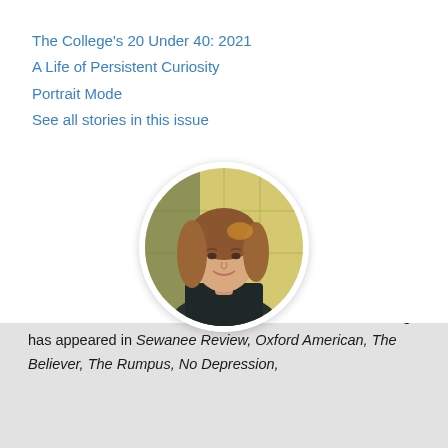The College's 20 Under 40: 2021
A Life of Persistent Curiosity
Portrait Mode
See all stories in this issue
[Figure (photo): Circular profile photo of Katie Moulton, a young woman with long wavy light brown hair, smiling, in front of a yellow tiled wall background.]
Katie Moulton
Katie Moulton is a writer, editor, and music critic. Her writing has appeared in Sewanee Review, Oxford American, The Believer, The Rumpus, No Depression,